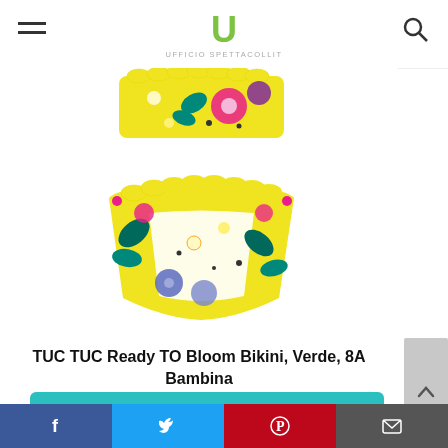Ufficio Spettacoli
[Figure (photo): Product photo of TUC TUC Ready TO Bloom Bikini in yellow with colorful floral print — shows bandeau top with ruffle and matching bikini bottom with ruffled waistband.]
TUC TUC Ready TO Bloom Bikini, Verde, 8A Bambina
Controlla il prezzo su Amazon
Amazon.it